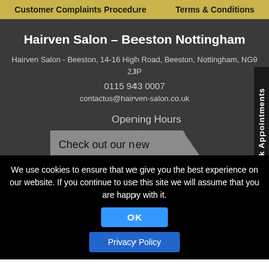Customer Complaints Procedure    Terms & Conditions
Hairven Salon – Beeston Nottingham
Hairven Salon - Beeston, 14-16 High Road, Beeston, Nottingham, NG9 2JP
0115 943 0007
contactus@hairven-salon.co.uk
Opening Hours
Mon-Wed:
10:00am
6:00pm
Sat:
Sun (Gedling & Beeston):
[Figure (infographic): Tooltip popup with arrow shape saying 'Check out our new online booking app!']
Book Appointments
We use cookies to ensure that we give you the best experience on our website. If you continue to use this site we will assume that you are happy with it.
OK
Privacy Policy